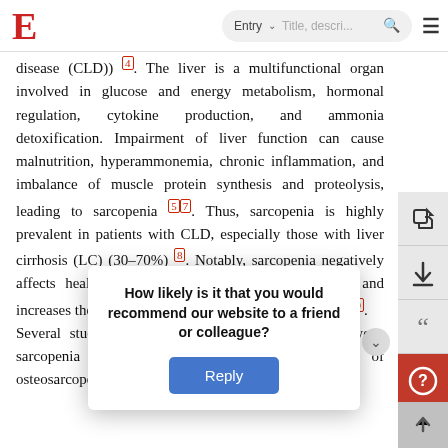E [logo] | Entry v | Title, descri... [search] [menu]
disease (CLD)) [4]. The liver is a multifunctional organ involved in glucose and energy metabolism, hormonal regulation, cytokine production, and ammonia detoxification. Impairment of liver function can cause malnutrition, hyperammonemia, chronic inflammation, and imbalance of muscle protein synthesis and proteolysis, leading to sarcopenia [5][7]. Thus, sarcopenia is highly prevalent in patients with CLD, especially those with liver cirrhosis (LC) (30–70%) [8]. Notably, sarcopenia negatively affects health-related quality of life and prognosis, and increases the risk of complications, such as infection [9][10]. Several studies revealed a close relationship between sarcopenia and insulin resistance in older adults. of osteosarcopenia and the recurrence of
How likely is it that you would recommend our website to a friend or colleague?
Reply